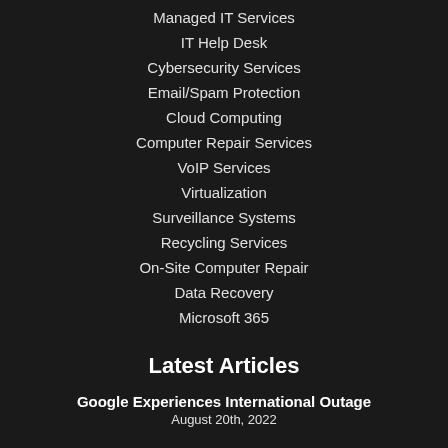Managed IT Services
IT Help Desk
Cybersecurity Services
Email/Spam Protection
Cloud Computing
Computer Repair Services
VoIP Services
Virtualization
Surveillance Systems
Recycling Services
On-Site Computer Repair
Data Recovery
Microsoft 365
Latest Articles
Google Experiences International Outage
August 20th, 2022